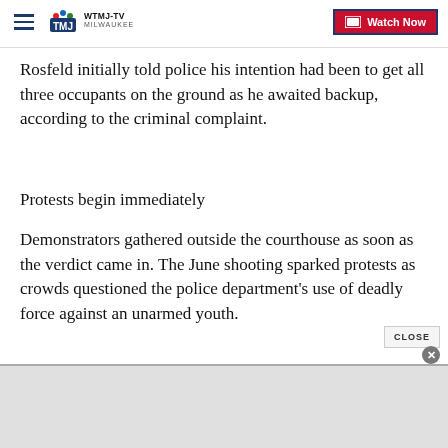WTMJ-TV MILWAUKEE — Watch Now
Rosfeld initially told police his intention had been to get all three occupants on the ground as he awaited backup, according to the criminal complaint.
Protests begin immediately
Demonstrators gathered outside the courthouse as soon as the verdict came in. The June shooting sparked protests as crowds questioned the police department's use of deadly force against an unarmed youth.